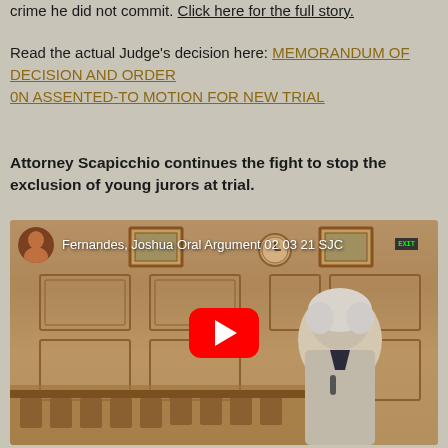crime he did not commit. Click here for the full story.
Read the actual Judge's decision here: MEMORANDUM OF DECISION AND ORDER
0N ASSENTED-TO MOTION FOR NEW TRIAL
Attorney Scapicchio continues the fight to stop the exclusion of young jurors at trial.
[Figure (screenshot): YouTube video thumbnail showing a courtroom scene in sepia tone with a woman in the foreground and courtroom benches/panels in background. Video title: Fernandes, Joshua Oral Argument 02 03 21 SJC. Red YouTube play button in center.]